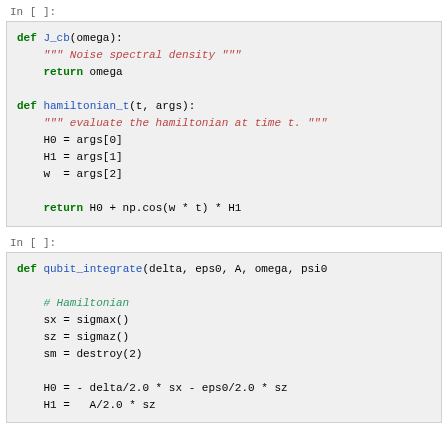In [ ]:
def J_cb(omega):
    """ Noise spectral density """
    return omega

def hamiltonian_t(t, args):
    """ evaluate the hamiltonian at time t. """
    H0 = args[0]
    H1 = args[1]
    w  = args[2]

    return H0 + np.cos(w * t) * H1
In [ ]:
def qubit_integrate(delta, eps0, A, omega, psi0

    # Hamiltonian
    sx = sigmax()
    sz = sigmaz()
    sm = destroy(2)

    H0 = - delta/2.0 * sx - eps0/2.0 * sz
    H1 =   A/2.0 * sz